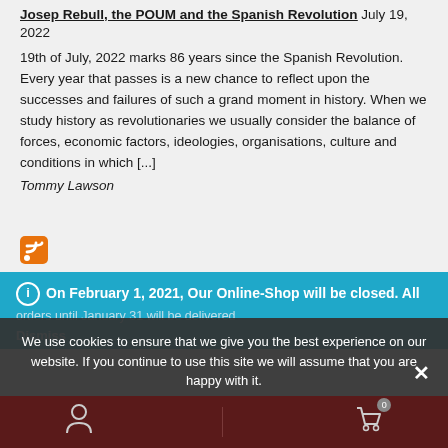Josep Rebull, the POUM and the Spanish Revolution July 19, 2022
19th of July, 2022 marks 86 years since the Spanish Revolution. Every year that passes is a new chance to reflect upon the successes and failures of such a grand moment in history. When we study history as revolutionaries we usually consider the balance of forces, economic factors, ideologies, organisations, culture and conditions in which [...]
Tommy Lawson
[Figure (other): RSS feed icon (orange square with white wifi-style signal waves)]
On February 1, 2021, Our Online-Shop will be closed. All orders until January 31 will be delivered
Dismiss
We use cookies to ensure that we give you the best experience on our website. If you continue to use this site we will assume that you are happy with it.